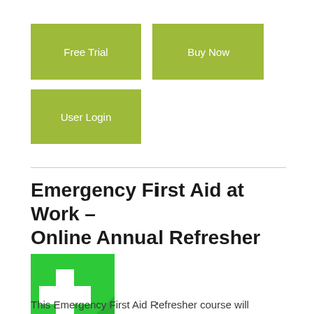[Figure (other): Green button labeled 'Free Trial']
[Figure (other): Green button labeled 'Buy Now']
[Figure (other): Green button labeled 'User Login']
Emergency First Aid at Work – Online Annual Refresher
[Figure (logo): Green square icon with white medical cross/plus sign with drop shadow effect]
This Emergency First Aid Refresher course will highlight some of the